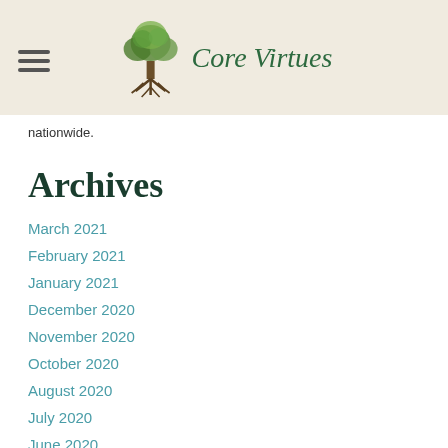Core Virtues
nationwide.
Archives
March 2021
February 2021
January 2021
December 2020
November 2020
October 2020
August 2020
July 2020
June 2020